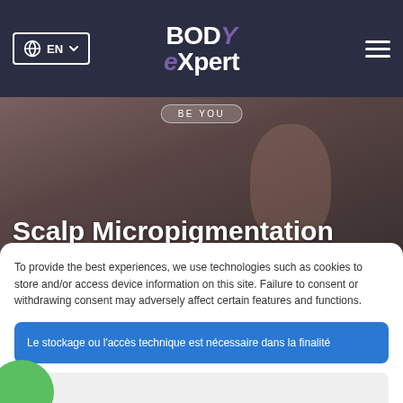EN | BODY expert
[Figure (screenshot): Hero background image showing a person's scalp/face, partially visible behind overlapping cookie consent modal]
Scalp Micropigmentation
To provide the best experiences, we use technologies such as cookies to store and/or access device information on this site. Failure to consent or withdrawing consent may adversely affect certain features and functions.
Le stockage ou l'accès technique est nécessaire dans la finalité